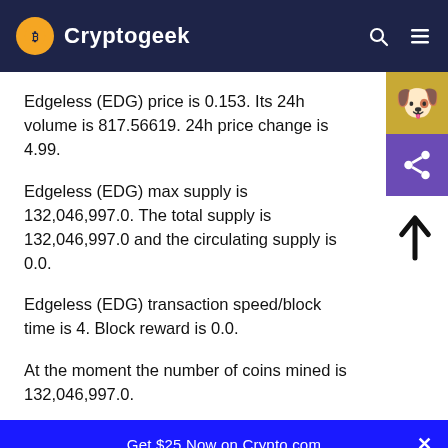Cryptogeek
Edgeless (EDG) price is 0.153. Its 24h volume is 817.56619. 24h price change is 4.99.
Edgeless (EDG) max supply is 132,046,997.0. The total supply is 132,046,997.0 and the circulating supply is 0.0.
Edgeless (EDG) transaction speed/block time is 4. Block reward is 0.0.
At the moment the number of coins mined is 132,046,997.0.
Edgeless (EDG) Cryptogeek user rating is 4.0, based on 1 user reviews.
Get $25 Now on Crypto.com